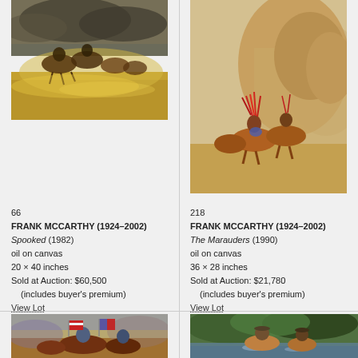[Figure (photo): Western painting showing cowboys on horseback stampeding across a dusty plain under stormy sky, titled Spooked (1982) by Frank McCarthy]
[Figure (photo): Western painting showing Native American warriors on horseback in desert terrain, titled The Marauders (1990) by Frank McCarthy]
66
FRANK MCCARTHY (1924–2002)
Spooked (1982)
oil on canvas
20 × 40 inches
Sold at Auction: $60,500
   (includes buyer's premium)
View Lot
218
FRANK MCCARTHY (1924–2002)
The Marauders (1990)
oil on canvas
36 × 28 inches
Sold at Auction: $21,780
   (includes buyer's premium)
View Lot
[Figure (photo): Western painting showing cavalry soldiers on horseback carrying American and other flags across open terrain]
[Figure (photo): Western painting showing cowboys on horseback crossing a river with cattle]